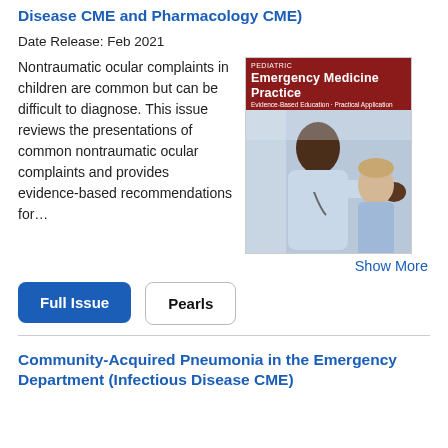Ocular Complaints in Children (Infectious Disease CME and Pharmacology CME)
Date Release: Feb 2021
Nontraumatic ocular complaints in children are common but can be difficult to diagnose. This issue reviews the presentations of common nontraumatic ocular complaints and provides evidence-based recommendations for…
[Figure (photo): Cover of Pediatric Emergency Medicine Practice journal showing a doctor examining a child's eye]
Show More
Full Issue | Pearls
Community-Acquired Pneumonia in the Emergency Department (Infectious Disease CME)